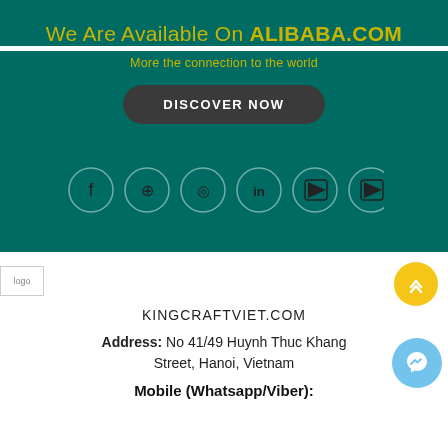We Are Available On ALIBABA.COM
More the connection to the world
DISCOVER NOW
[Figure (illustration): Row of six social media icon circles: Facebook, Pinterest, Instagram, LinkedIn, YouTube, YouTube]
[Figure (logo): Company logo image placeholder]
KINGCRAFTVIET.COM
Address: No 41/49 Huynh Thuc Khang Street, Hanoi, Vietnam
Mobile (Whatsapp/Viber):